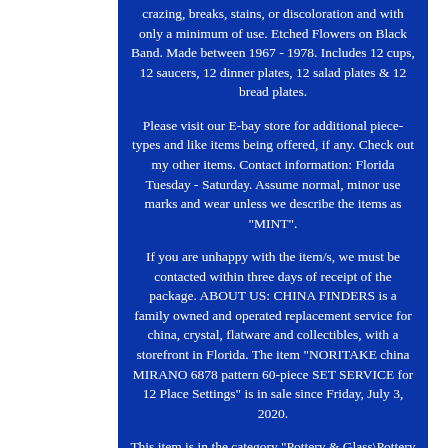crazing, breaks, stains, or discoloration and with only a minimum of use. Etched Flowers on Black Band. Made between 1967 - 1978. Includes 12 cups, 12 saucers, 12 dinner plates, 12 salad plates & 12 bread plates.
Please visit our E-bay store for additional piece-types and like items being offered, if any. Check out my other items. Contact information: Florida Tuesday - Saturday. Assume normal, minor use marks and wear unless we describe the items as "MINT".
If you are unhappy with the item/s, we must be contacted within three days of receipt of the package. ABOUT US: CHINA FINDERS is a family owned and operated replacement service for china, crystal, flatware and collectibles, with a storefront in Florida. The item "NORITAKE china MIRANO 6878 pattern 60-piece SET SERVICE for 12 Place Settings" is in sale since Friday, July 3, 2020.
This item is in the category "Pottery & Glass\Pottery & China\China &